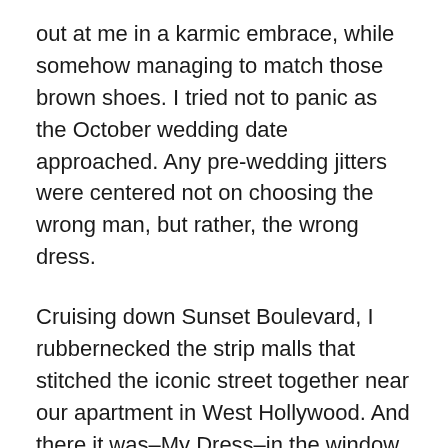out at me in a karmic embrace, while somehow managing to match those brown shoes. I tried not to panic as the October wedding date approached. Any pre-wedding jitters were centered not on choosing the wrong man, but rather, the wrong dress.
Cruising down Sunset Boulevard, I rubbernecked the strip malls that stitched the iconic street together near our apartment in West Hollywood. And there it was–My Dress–in the window of a shop (name long forgotten) that I had to circle several times to find the entrance for parking in the back. Once inside, I wriggled into the ring of elastic that served as the neckline, and shrugged the flouncy ruffle down over my shoulders. Then I secured my fanny wrap and peered into the 3-way mirror. And pirouetted. It was one of a kind, and made me feel that way too. With a